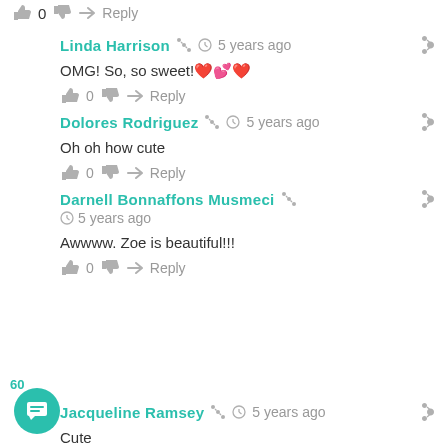👍 0 👎 ➤ Reply
Linda Harrison  🕐 5 years ago
OMG! So, so sweet!❤️💕❤️
👍 0 👎 ➤ Reply
Dolores Rodriguez  🕐 5 years ago
Oh oh how cute
👍 0 👎 ➤ Reply
Darnell Bonnaffons Musmeci  🕐 5 years ago
Awwww. Zoe is beautiful!!!
👍 0 👎 ➤ Reply
Jacqueline Ramsey  🕐 5 years ago
Cute